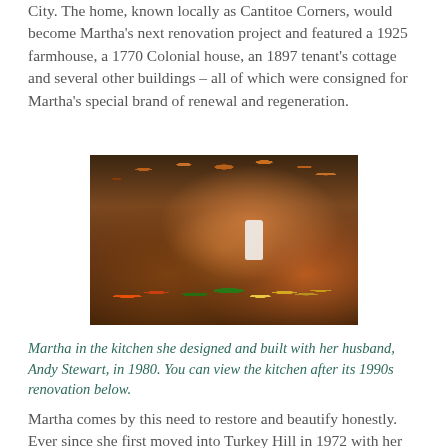City. The home, known locally as Cantitoe Corners, would become Martha's next renovation project and featured a 1925 farmhouse, a 1770 Colonial house, an 1897 tenant's cottage and several other buildings – all of which were consigned for Martha's special brand of renewal and regeneration.
[Figure (photo): Martha standing in the kitchen she designed and built with her husband Andy Stewart in 1980. The kitchen features copper pots hanging from the ceiling, wood cabinetry, and an abundance of fresh produce including pumpkins, cabbages, and other vegetables arranged on the floor and counter.]
Martha in the kitchen she designed and built with her husband, Andy Stewart, in 1980. You can view the kitchen after its 1990s renovation below.
Martha comes by this need to restore and beautify honestly. Ever since she first moved into Turkey Hill in 1972 with her then-husband, Andy Stewart, and their daughter, Alexia, its